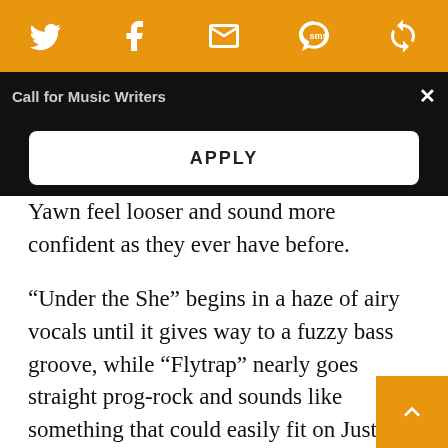[Figure (other): Orange social sharing toolbar with Twitter, Facebook, Email, SMS, and another icon]
Call for Music Writers
APPLY
Yawn feel looser and sound more confident as they ever have before.
“Under the She” begins in a haze of airy vocals until it gives way to a fuzzy bass groove, while “Flytrap” nearly goes straight prog-rock and sounds like something that could easily fit on Justice’s Audio, Video, Disco. Meanwhile, “Summer Heat” simmers by way of a bustling string sec and “Mylene” slowly sways with its Beach Boy harmonies before a spaced out guitar solo takes